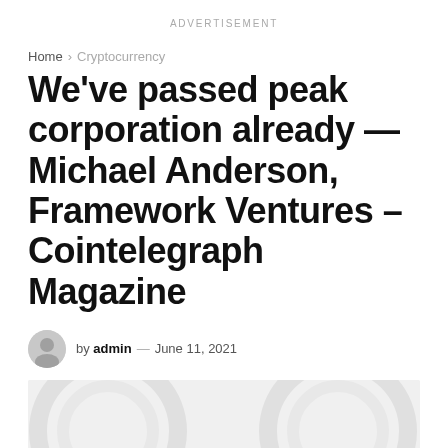ADVERTISEMENT
Home > Cryptocurrency
We've passed peak corporation already — Michael Anderson, Framework Ventures – Cointelegraph Magazine
by admin — June 11, 2021
[Figure (photo): Article hero image with light grey background and decorative circular pattern]